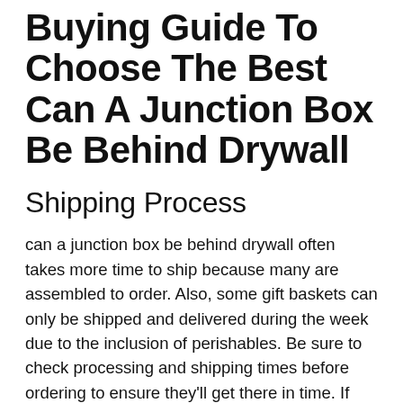Buying Guide To Choose The Best Can A Junction Box Be Behind Drywall
Shipping Process
can a junction box be behind drywall often takes more time to ship because many are assembled to order. Also, some gift baskets can only be shipped and delivered during the week due to the inclusion of perishables. Be sure to check processing and shipping times before ordering to ensure they'll get there in time. If you're ordering something that includes more delicate items, like cupcakes,